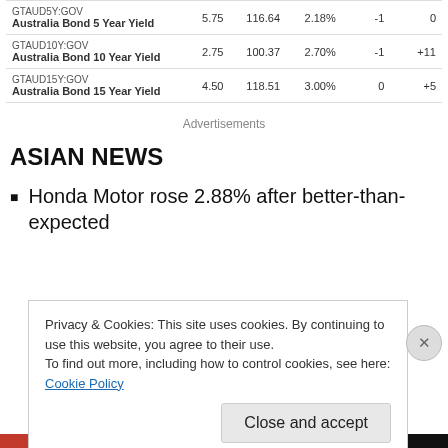| Ticker / Name | Coupon | Price | Yield | 1D | 1W |
| --- | --- | --- | --- | --- | --- |
| GTAUD5Y:GOV
Australia Bond 5 Year Yield | 5.75 | 116.64 | 2.18% | -1 | 0 |
| GTAUD10Y:GOV
Australia Bond 10 Year Yield | 2.75 | 100.37 | 2.70% | -1 | +11 |
| GTAUD15Y:GOV
Australia Bond 15 Year Yield | 4.50 | 118.51 | 3.00% | 0 | +5 |
Advertisements
ASIAN NEWS
Honda Motor rose 2.88% after better-than-expected
Privacy & Cookies: This site uses cookies. By continuing to use this website, you agree to their use.
To find out more, including how to control cookies, see here: Cookie Policy